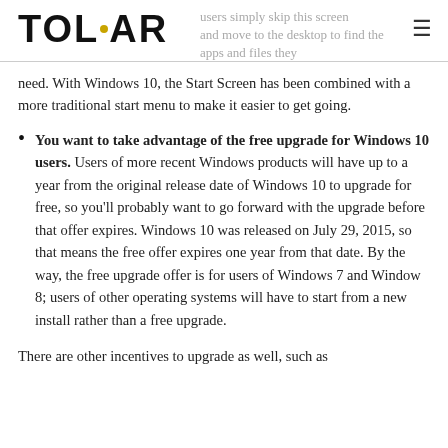TOLAR — users simply skip this screen and move to the desktop to find the apps and files they need.
need. With Windows 10, the Start Screen has been combined with a more traditional start menu to make it easier to get going.
You want to take advantage of the free upgrade for Windows 10 users. Users of more recent Windows products will have up to a year from the original release date of Windows 10 to upgrade for free, so you'll probably want to go forward with the upgrade before that offer expires. Windows 10 was released on July 29, 2015, so that means the free offer expires one year from that date. By the way, the free upgrade offer is for users of Windows 7 and Window 8; users of other operating systems will have to start from a new install rather than a free upgrade.
There are other incentives to upgrade as well, such as